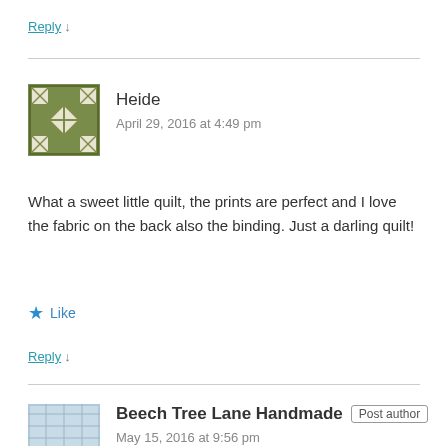Reply ↓
[Figure (illustration): Quilt pattern avatar icon for user Heide — green/olive geometric quilt block pattern]
Heide
April 29, 2016 at 4:49 pm
What a sweet little quilt, the prints are perfect and I love the fabric on the back also the binding. Just a darling quilt!
★ Like
Reply ↓
[Figure (photo): Small thumbnail photo for Beech Tree Lane Handmade showing fabric/quilt]
Beech Tree Lane Handmade  Post author
May 15, 2016 at 9:56 pm